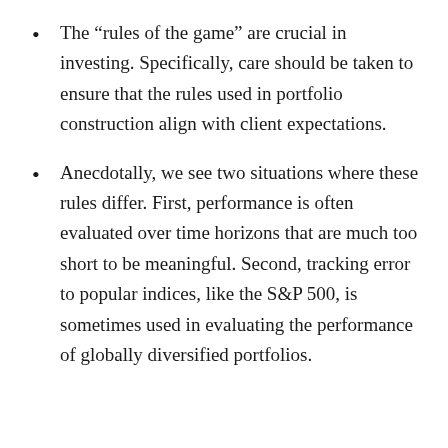The “rules of the game” are crucial in investing. Specifically, care should be taken to ensure that the rules used in portfolio construction align with client expectations.
Anecdotally, we see two situations where these rules differ. First, performance is often evaluated over time horizons that are much too short to be meaningful. Second, tracking error to popular indices, like the S&P 500, is sometimes used in evaluating the performance of globally diversified portfolios.